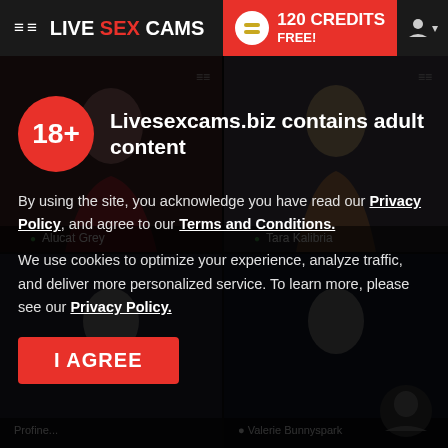≡≡ LIVE SEX CAMS | 120 CREDITS FREE!
[Figure (screenshot): Background live cam grid showing two cam performers (brunette in red lingerie labeled Alucat Grey, blonde labeled Tara Kalibria) and two partially visible cams below, overlaid with age verification modal]
Livesexcams.biz contains adult content
By using the site, you acknowledge you have read our Privacy Policy, and agree to our Terms and Conditions.
We use cookies to optimize your experience, analyze traffic, and deliver more personalized service. To learn more, please see our Privacy Policy.
I AGREE